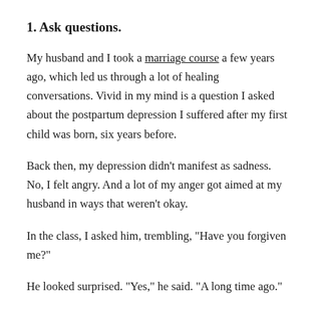1. Ask questions.
My husband and I took a marriage course a few years ago, which led us through a lot of healing conversations. Vivid in my mind is a question I asked about the postpartum depression I suffered after my first child was born, six years before.
Back then, my depression didn’t manifest as sadness. No, I felt angry. And a lot of my anger got aimed at my husband in ways that weren’t okay.
In the class, I asked him, trembling, “Have you forgiven me?”
He looked surprised. “Yes,” he said. “A long time ago.”